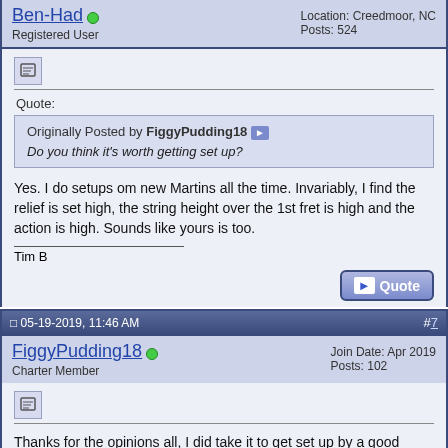Ben-Had | Registered User | Location: Creedmoor, NC | Posts: 524
Quote: Originally Posted by FiggyPudding18 — Do you think it's worth getting set up?
Yes. I do setups om new Martins all the time. Invariably, I find the relief is set high, the string height over the 1st fret is high and the action is high. Sounds like yours is too.

Tim B
05-19-2019, 11:46 AM  #7
FiggyPudding18 | Charter Member | Join Date: Apr 2019 | Posts: 102
Thanks for the opinions all, I did take it to get set up by a good luthier the other day...should have it back to see the results within the next week and and a half!
Current Guitars: Gibson J-45 Standard 2020, Fender American Original 60's Stratocaster MII...